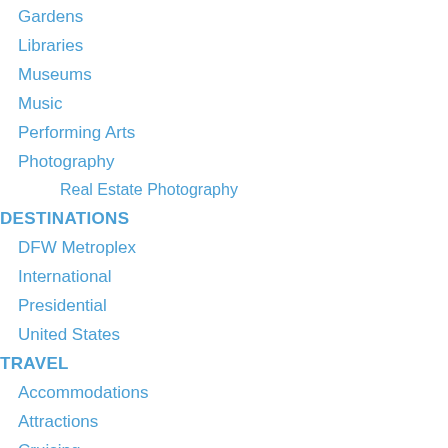Gardens
Libraries
Museums
Music
Performing Arts
Photography
Real Estate Photography
DESTINATIONS
DFW Metroplex
International
Presidential
United States
TRAVEL
Accommodations
Attractions
Cruising
Shore Excursions
Restaurants & Bars
Road Trips
Shopping